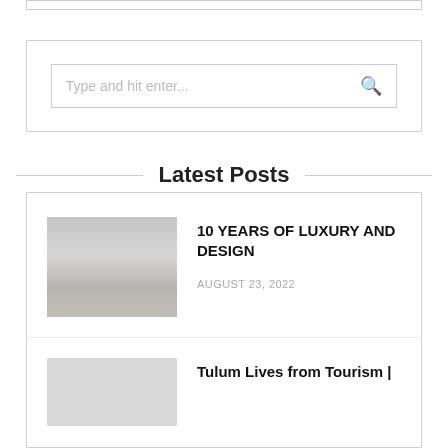[Figure (screenshot): Top bar / partial element at very top of page]
[Figure (screenshot): Search box with placeholder text 'Type and hit enter...' and a search icon]
Latest Posts
[Figure (screenshot): Posts container with two blog post items]
10 YEARS OF LUXURY AND DESIGN
AUGUST 23, 2022
Tulum Lives from Tourism |